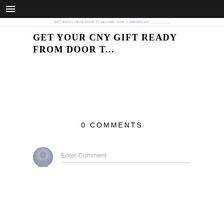☰ (menu icon)
[Figure (other): Navigation link banner with underlined blue text on white background]
GET YOUR CNY GIFT READY FROM DOOR T...
0 COMMENTS
[Figure (other): User avatar circle icon (grey gradient silhouette) next to Enter Comment input field with bottom border]